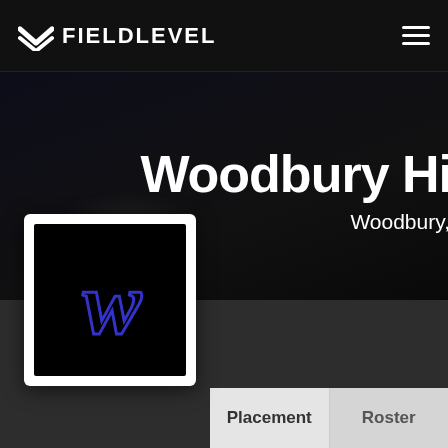[Figure (logo): FieldLevel logo and navigation bar with hamburger menu icon on dark background]
[Figure (screenshot): Hero banner with dark bokeh background, large white text reading 'Woodbury Hi' (truncated) and subtitle 'Woodbury,' (truncated)]
[Figure (logo): Team logo card: white bordered card with black interior showing a cursive 'W' in blue/purple color]
Placement
Roster